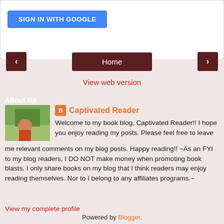[Figure (screenshot): Sign in with Google button on white card background]
[Figure (screenshot): Navigation bar with left arrow, Home button, and right arrow on pink background]
View web version
About Me
[Figure (photo): Profile photo of a person outdoors]
Captivated Reader
Welcome to my book blog, Captivated Reader!! I hope you enjoy reading my posts. Please feel free to leave me relevant comments on my blog posts. Happy reading!! ~As an FYI to my blog readers, I DO NOT make money when promoting book blasts. I only share books on my blog that I think readers may enjoy reading themselves. Nor to I belong to any affiliates programs.~
View my complete profile
Powered by Blogger.